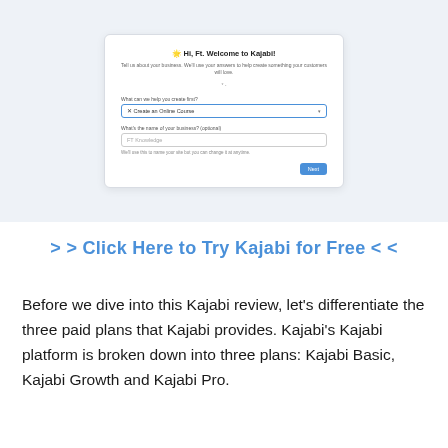[Figure (screenshot): Screenshot of Kajabi onboarding modal with title 'Hi, Ft. Welcome to Kajabi!', a dropdown for 'What can we help you create first?' set to 'Create an Online Course', a text field for business/platform name showing 'FT Knowledge', helper text, and a blue Next button. Background is light blue-grey.]
> > Click Here to Try Kajabi for Free < <
Before we dive into this Kajabi review, let's differentiate the three paid plans that Kajabi provides. Kajabi's Kajabi platform is broken down into three plans: Kajabi Basic, Kajabi Growth and Kajabi Pro.